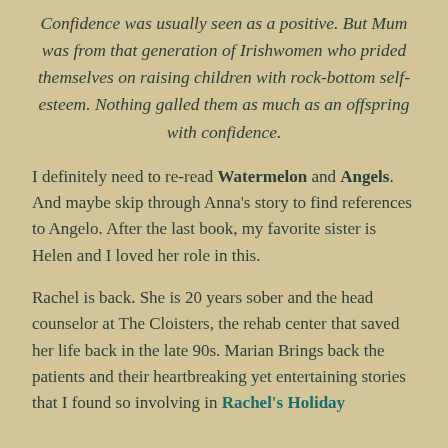Confidence was usually seen as a positive. But Mum was from that generation of Irishwomen who prided themselves on raising children with rock-bottom self-esteem. Nothing galled them as much as an offspring with confidence.
I definitely need to re-read Watermelon and Angels. And maybe skip through Anna's story to find references to Angelo. After the last book, my favorite sister is Helen and I loved her role in this.
Rachel is back. She is 20 years sober and the head counselor at The Cloisters, the rehab center that saved her life back in the late 90s. Marian Brings back the patients and their heartbreaking yet entertaining stories that I found so involving in Rachel's Holiday